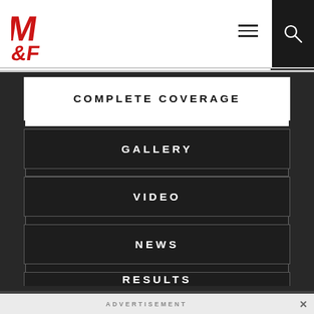M&F logo, hamburger menu, search icon
COMPLETE COVERAGE
GALLERY
VIDEO
NEWS
RESULTS
EVENT'S HISTORY
ADVERTISEMENT